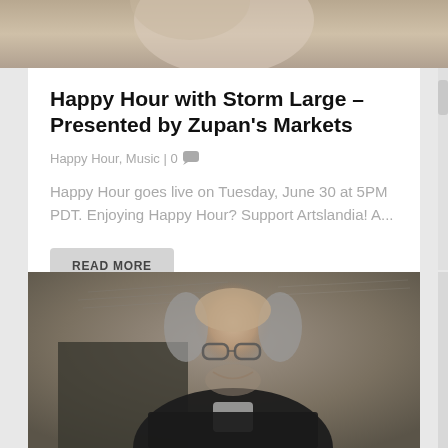[Figure (photo): Top portion of a photo, cropped, showing what appears to be a person in light-colored clothing against a textured background.]
Happy Hour with Storm Large – Presented by Zupan's Markets
Happy Hour, Music | 0 💬
Happy Hour goes live on Tuesday, June 30 at 5PM PDT. Enjoying Happy Hour? Support Artslandia! A...
READ MORE
[Figure (photo): A smiling middle-aged man with glasses and gray-streaked hair wearing a dark blazer with a white shirt, photographed in front of a textured wall with musical notation markings.]